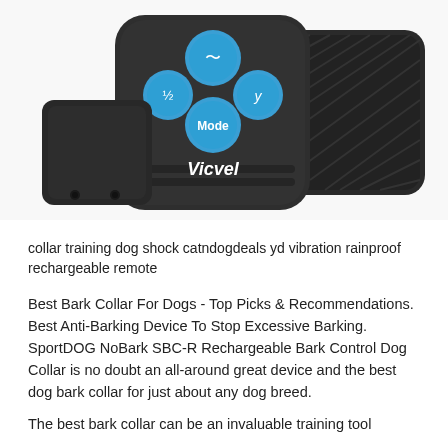[Figure (photo): Dog training shock collar with remote control. The remote has blue buttons labeled 1/2, Mode, and Y with a vibration/shock icon. The collar unit is black with a textured strap. The brand name 'Vicvel' is visible on the remote.]
collar training dog shock catndogdeals yd vibration rainproof rechargeable remote
Best Bark Collar For Dogs - Top Picks & Recommendations. Best Anti-Barking Device To Stop Excessive Barking. SportDOG NoBark SBC-R Rechargeable Bark Control Dog Collar is no doubt an all-around great device and the best dog bark collar for just about any dog breed.
The best bark collar can be an invaluable training tool